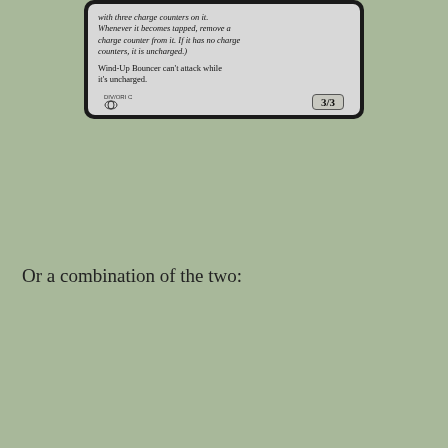[Figure (illustration): Top portion of a Magic: The Gathering card (Wind-Up Bouncer, partial view) showing text box with italic flavor/rules text about charge counters and the card being uncharged, and a 3/3 power/toughness box. Card set label DIV/ORI C visible.]
Or a combination of the two:
[Figure (illustration): A Magic: The Gathering card called 'Technophile Giant'. Cost: 4 colorless + 1 green. Type: Creature — Giant Artificer. Art shows a green leaf texture/close-up. Text box reads: Empowered—Whenever you pay [green mana] on an artifact, put a +1/+1 counter on Technophile Giant. (You pay [green mana]...]